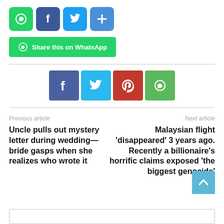[Figure (infographic): Row of 4 small social share icon buttons: WhatsApp (green), Facebook (blue), Twitter (blue), Share/Plus (blue)]
[Figure (infographic): Green WhatsApp share button with WhatsApp icon and text 'Share this on WhatsApp']
[Figure (infographic): Row of 4 large social share buttons: Facebook (slate blue), Twitter (light blue), Pinterest (red), WhatsApp (green)]
Previous article
Uncle pulls out mystery letter during wedding—bride gasps when she realizes who wrote it
Next article
Malaysian flight 'disappeared' 3 years ago. Recently a billionaire's horrific claims exposed 'the biggest genocide'